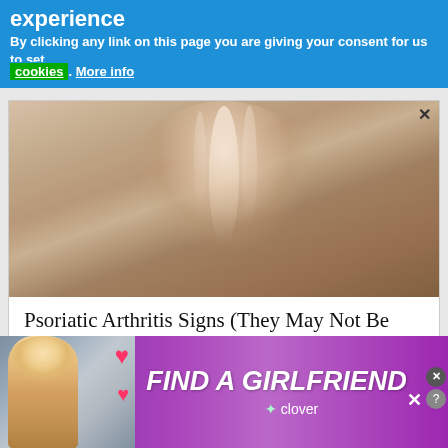experience
By clicking any link on this page you are giving your consent for us to set
cookies. More info
[Figure (photo): Close-up photograph of a human fingernail showing ridges and nail bed]
Psoriatic Arthritis Signs (They May Not Be Common
Ad by Arthritis | Sponsored Links
[Figure (photo): Advertisement banner with woman photo, hearts, and FIND A GIRLFRIEND text with Clover branding on purple background]